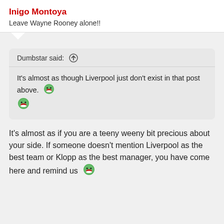Inigo Montoya
Leave Wayne Rooney alone!!
Dumbstar said: ↑
It's almost as though Liverpool just don't exist in that post above. 😄 😄
It's almost as if you are a teeny weeny bit precious about your side. If someone doesn't mention Liverpool as the best team or Klopp as the best manager, you have come here and remind us 😄